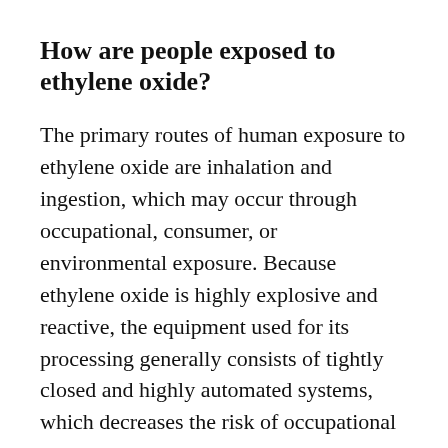How are people exposed to ethylene oxide?
The primary routes of human exposure to ethylene oxide are inhalation and ingestion, which may occur through occupational, consumer, or environmental exposure. Because ethylene oxide is highly explosive and reactive, the equipment used for its processing generally consists of tightly closed and highly automated systems, which decreases the risk of occupational exposure.
Despite these precautions, workers and...